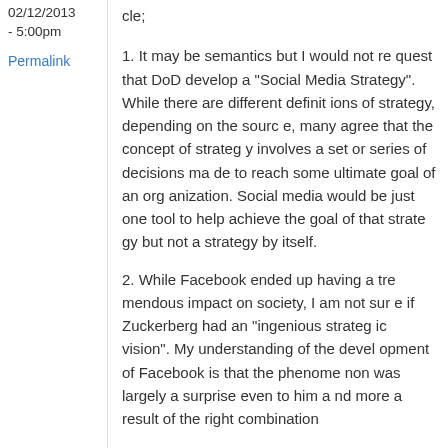02/12/2013 - 5:00pm
Permalink
cle;
1. It may be semantics but I would not request that DoD develop a "Social Media Strategy". While there are different definitions of strategy, depending on the source, many agree that the concept of strategy involves a set or series of decisions made to reach some ultimate goal of an organization. Social media would be just one tool to help achieve the goal of that strategy but not a strategy by itself.
2. While Facebook ended up having a tremendous impact on society, I am not sure if Zuckerberg had an "ingenious strategic vision". My understanding of the development of Facebook is that the phenomenon was largely a surprise even to him and more a result of the right combination